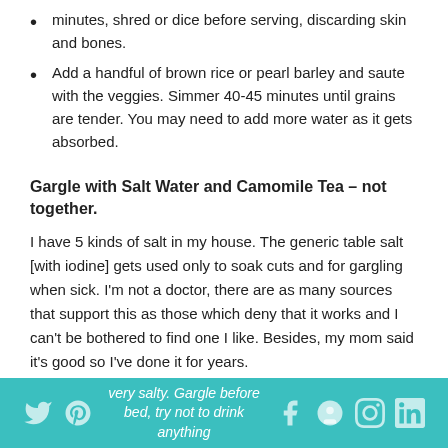minutes, shred or dice before serving, discarding skin and bones.
Add a handful of brown rice or pearl barley and saute with the veggies. Simmer 40-45 minutes until grains are tender. You may need to add more water as it gets absorbed.
Gargle with Salt Water and Camomile Tea – not together.
I have 5 kinds of salt in my house. The generic table salt [with iodine] gets used only to soak cuts and for gargling when sick. I'm not a doctor, there are as many sources that support this as those which deny that it works and I can't be bothered to find one I like. Besides, my mom said it's good so I've done it for years.
Add iodized salt to water that is as warm as you can stand and stir to dissolve. The mixture should taste very salty. Gargle before bed, try not to drink anything after for a while, then repeat in the morning. Some
very salty. Gargle before bed, try not to drink anything